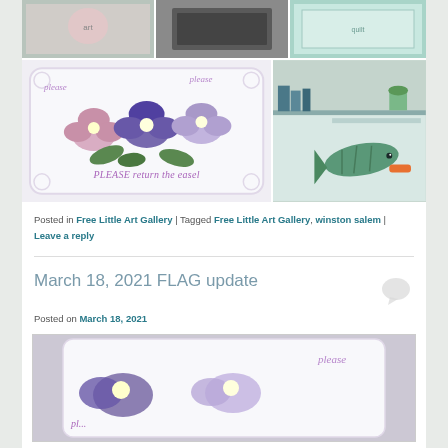[Figure (photo): Three photos in a row at top: painted art piece, dark box, and quilted/fabric piece]
[Figure (photo): Large photo of a decorative tile/plaque with pansies painted on it reading 'please PLEASE return the easel', next to a smaller photo of craft items on a shelf with a wooden fish]
Posted in Free Little Art Gallery | Tagged Free Little Art Gallery, winston salem | Leave a reply
March 18, 2021 FLAG update
Posted on March 18, 2021
[Figure (photo): Featured image showing the pansies plaque close-up, partially visible, with purple flower embroidery and the word 'please']